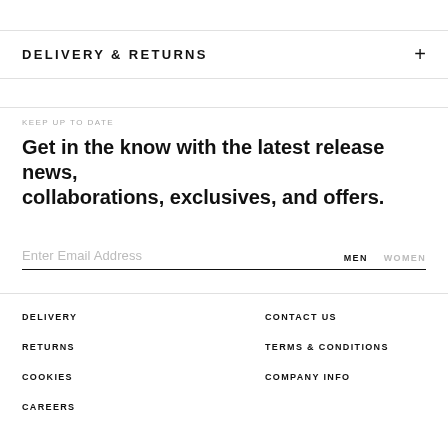DELIVERY & RETURNS
KEEP UP TO DATE
Get in the know with the latest release news, collaborations, exclusives, and offers.
Enter Email Address
MEN   WOMEN
DELIVERY
RETURNS
COOKIES
CAREERS
CONTACT US
TERMS & CONDITIONS
COMPANY INFO